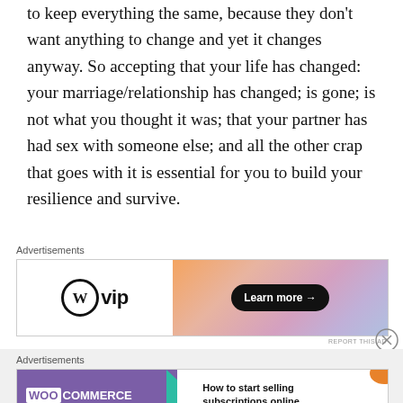to keep everything the same, because they don't want anything to change and yet it changes anyway. So accepting that your life has changed: your marriage/relationship has changed; is gone; is not what you thought it was; that your partner has had sex with someone else; and all the other crap that goes with it is essential for you to build your resilience and survive.
[Figure (other): WordPress VIP advertisement banner with gradient orange/pink/purple background and a 'Learn more' button]
[Figure (other): WooCommerce advertisement banner with purple background, teal arrow, and text 'How to start selling subscriptions online']